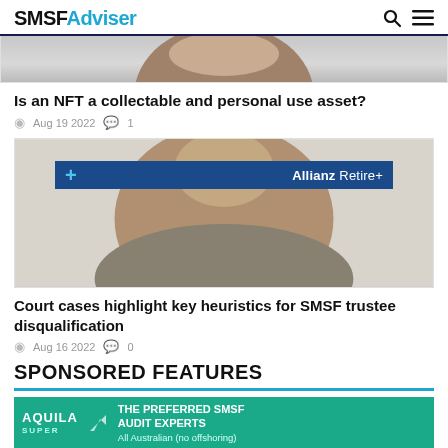SMSFAdviser
[Figure (photo): Cropped top of a person's head with dark hair, smiling, on grey background]
Is an NFT a collectable and personal use asset?
Aug 19 2022  1
[Figure (photo): Man smiling, with Allianz Retire+ banner overlay across face area]
Court cases highlight key heuristics for SMSF trustee disqualification
Aug 16 2022  0
SPONSORED FEATURES
[Figure (illustration): Aquila Super advertisement: green banner reading THE PREFERRED SMSF AUDIT EXPERTS All Australian (no offshoring)]
Wha